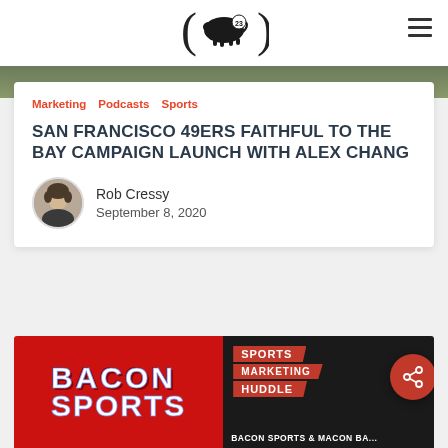Bacon Sports logo with pig icon and number 23
[Figure (photo): Partial view of an image at top of card, greenish/dark tones]
Marketing  Podcasts  Sports
SAN FRANCISCO 49ERS FAITHFUL TO THE BAY CAMPAIGN LAUNCH WITH ALEX CHANG
Rob Cressy
September 8, 2020
[Figure (photo): Bacon Sports and Sports Marketing Huddle podcast cover images side by side. Left half is red background with 'BACON SPORTS' text. Right half is black background with 'SPORTS MARKETING HUDDLE' text and 'BACON SPORTS & MACON BA...' text at bottom.]